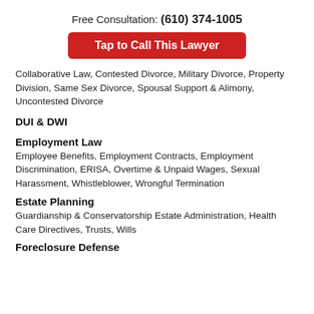Free Consultation: (610) 374-1005
Tap to Call This Lawyer
Collaborative Law, Contested Divorce, Military Divorce, Property Division, Same Sex Divorce, Spousal Support & Alimony, Uncontested Divorce
DUI & DWI
Employment Law
Employee Benefits, Employment Contracts, Employment Discrimination, ERISA, Overtime & Unpaid Wages, Sexual Harassment, Whistleblower, Wrongful Termination
Estate Planning
Guardianship & Conservatorship Estate Administration, Health Care Directives, Trusts, Wills
Foreclosure Defense